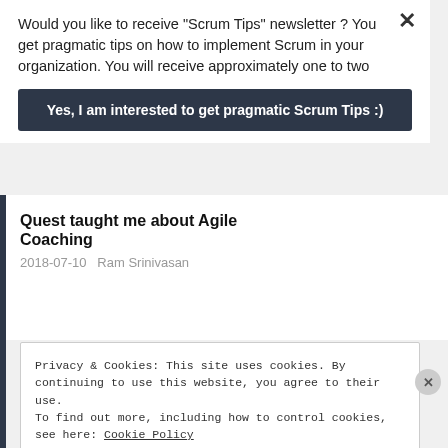Would you like to receive "Scrum Tips" newsletter ? You get pragmatic tips on how to implement Scrum in your organization. You will receive approximately one to two
Yes, I am interested to get pragmatic Scrum Tips :)
Quest taught me about Agile Coaching
2018-07-10   Ram Srinivasan
Privacy & Cookies: This site uses cookies. By continuing to use this website, you agree to their use.
To find out more, including how to control cookies, see here: Cookie Policy
Close and accept